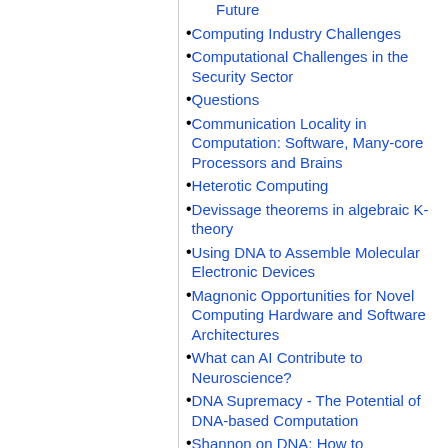Future
Computing Industry Challenges
Computational Challenges in the Security Sector
Questions
Communication Locality in Computation: Software, Many-core Processors and Brains
Heterotic Computing
Devissage theorems in algebraic K-theory
Using DNA to Assemble Molecular Electronic Devices
Magnonic Opportunities for Novel Computing Hardware and Software Architectures
What can AI Contribute to Neuroscience?
DNA Supremacy - The Potential of DNA-based Computation
Shannon on DNA: How to